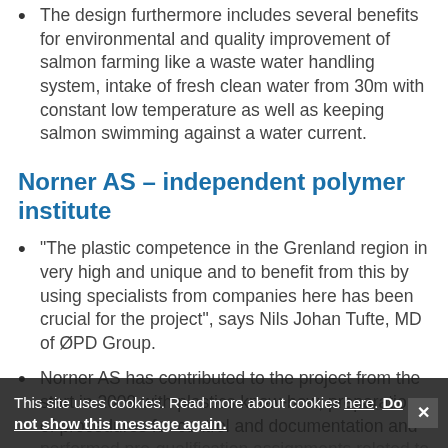The design furthermore includes several benefits for environmental and quality improvement of salmon farming like a waste water handling system, intake of fresh clean water from 30m with constant low temperature as well as keeping salmon swimming against a water current.
Norner AS – independent polymer institute
“The plastic competence in the Grenland region in very high and unique and to benefit from this by using specialists from companies here has been crucial for the project”, says Nils Johan Tufte, MD of ØPD Group.
Norner AS has contributed to the project from the start in 2009 with plastics know-how, preparation of procedures for control and documentation and performed pre-qualification assignments related to...
This site uses cookies. Read more about cookies here. Do not show this message again.